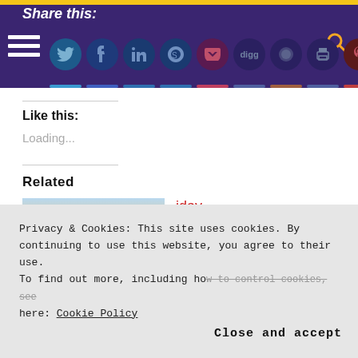Share this:
[Figure (screenshot): Social sharing icons row including Twitter, Facebook, LinkedIn, Skype, Pocket, Digg, Reddit, Print, Pinterest, Tumblr on purple background]
Like this:
Loading...
Related
[Figure (photo): Hand reaching toward bright light over water at sunrise/sunset]
iday
iday morning dawned bright (kinda) and early (very). As we
Privacy & Cookies: This site uses cookies. By continuing to use this website, you agree to their use. To find out more, including how to control cookies, see here: Cookie Policy
Close and accept